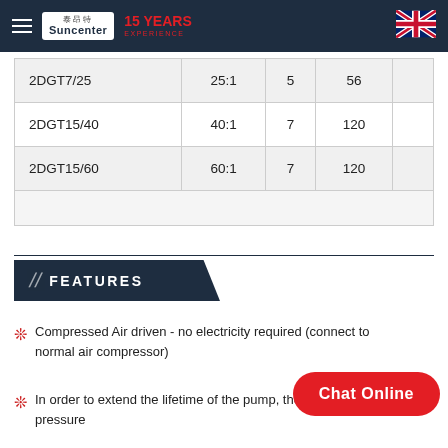Suncenter 15 YEARS EXPERIENCE
| 2DGT7/25 | 25:1 | 5 | 56 |
| 2DGT15/40 | 40:1 | 7 | 120 |
| 2DGT15/60 | 60:1 | 7 | 120 |
FEATURES
Compressed Air driven - no electricity required (connect to normal air compressor)
In order to extend the lifetime of the pump, the driving air pressure